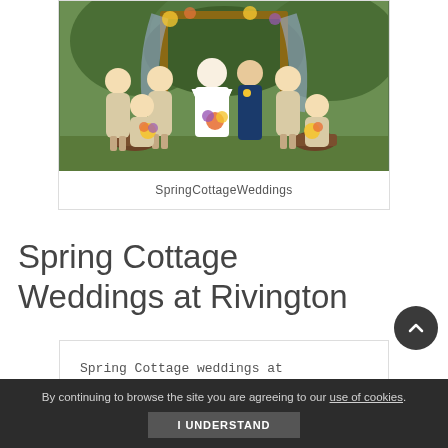[Figure (photo): Wedding photo showing bride, groom, and bridesmaids outdoors in front of a floral arch. Bridesmaids wear cream/beige dresses, bride in white gown, groom in navy suit.]
SpringCottageWeddings
Spring Cottage Weddings at Rivington
Spring Cottage weddings at Rivington recently become a
By continuing to browse the site you are agreeing to our use of cookies. I UNDERSTAND